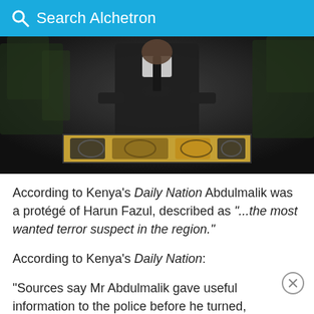Search Alchetron
[Figure (photo): Grainy video still of a man in a dark suit standing behind a decorated podium or table, with foliage in the background]
According to Kenya's Daily Nation Abdulmalik was a protégé of Harun Fazul, described as "...the most wanted terror suspect in the region."
According to Kenya's Daily Nation:
"Sources say Mr Abdulmalik gave useful information to the police before he turned, prompting his transfer to the high security prison at